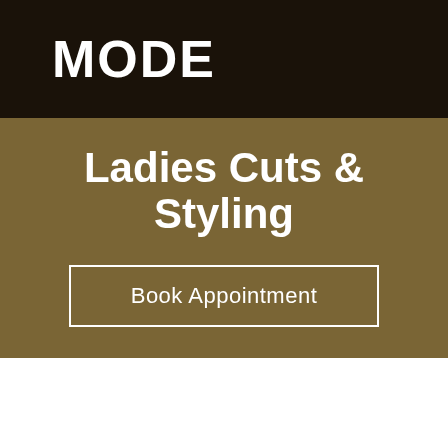MODE
Ladies Cuts & Styling
Book Appointment
There is nothing worse than spending good money on a ladies cut, only for it to